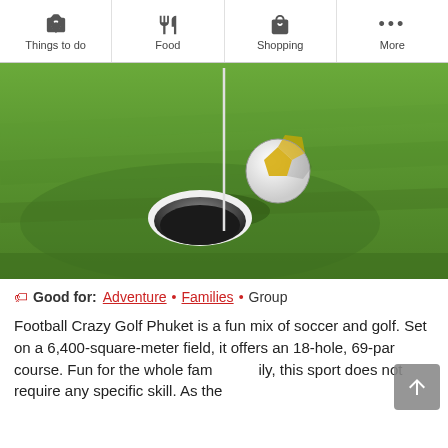Things to do  Food  Shopping  More
[Figure (photo): A soccer ball near a golf hole cup on a green grass field, with a white flag pole in the background. The ball is hovering just above the hole.]
Good for: Adventure • Families • Group
Football Crazy Golf Phuket is a fun mix of soccer and golf. Set on a 6,400-square-meter field, it offers an 18-hole, 69-par course. Fun for the whole family, this sport does not require any specific skill. As the